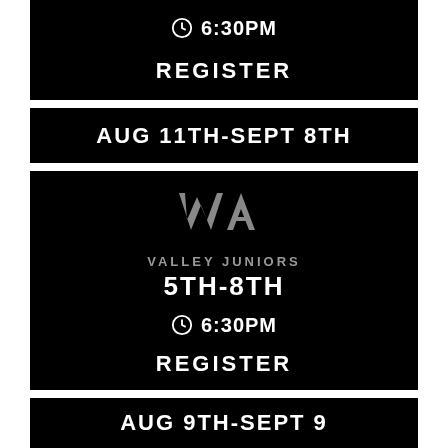6:30PM
REGISTER
AUG 11TH-SEPT 8TH
[Figure (logo): Valley Juniors WA logo — stylized W/A letters in grey on black background]
VALLEY JUNIORS
5TH-8TH
6:30PM
REGISTER
AUG 9TH-SEPT 9